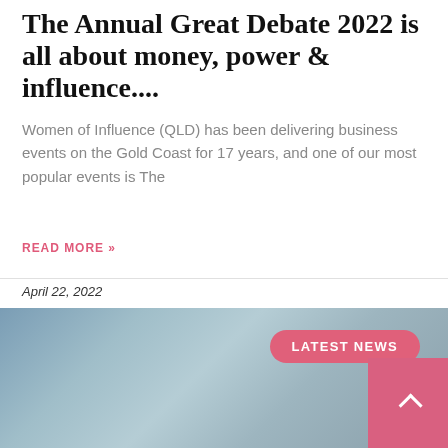The Annual Great Debate 2022 is all about money, power & influence....
Women of Influence (QLD) has been delivering business events on the Gold Coast for 17 years, and one of our most popular events is The
READ MORE »
April 22, 2022
[Figure (photo): Blurred blue-grey gradient background image with a pink 'LATEST NEWS' badge in the upper right and a pink scroll-to-top button in the lower right corner.]